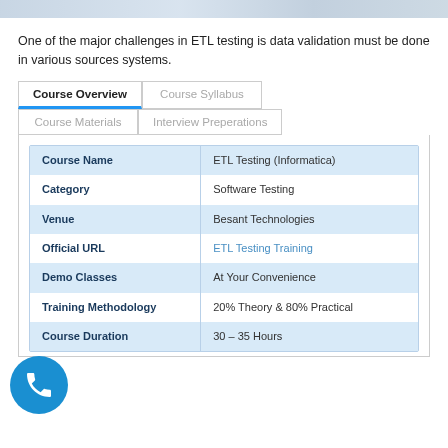[Figure (illustration): Top banner image strip with muted blue-grey gradient texture]
One of the major challenges in ETL testing is data validation must be done in various sources systems.
Course Overview | Course Syllabus | Course Materials | Interview Preperations (tab navigation)
| Field | Value |
| --- | --- |
| Course Name | ETL Testing (Informatica) |
| Category | Software Testing |
| Venue | Besant Technologies |
| Official URL | ETL Testing Training |
| Demo Classes | At Your Convenience |
| Training Methodology | 20% Theory & 80% Practical |
| Course Duration | 30 – 35 Hours |